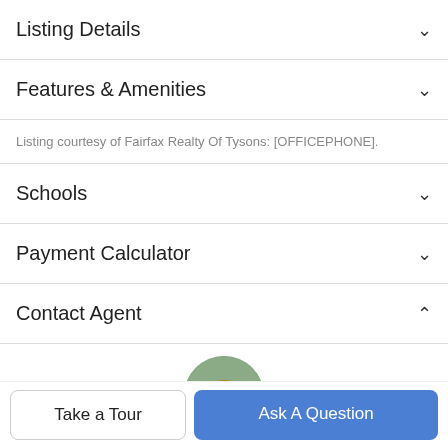Listing Details
Features & Amenities
Listing courtesy of Fairfax Realty Of Tysons: [OFFICEPHONE].
Schools
Payment Calculator
Contact Agent
[Figure (photo): Circular headshot of a man in a suit jacket with a green outdoor background]
Take a Tour
Ask A Question